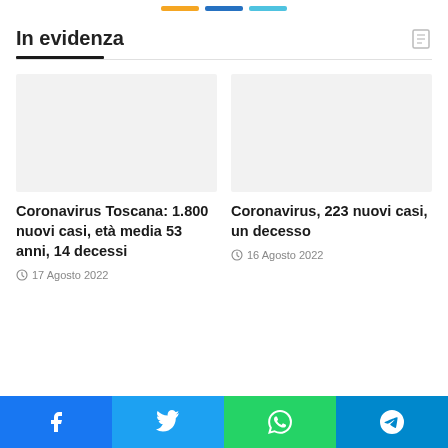In evidenza
Coronavirus Toscana: 1.800 nuovi casi, età media 53 anni, 14 decessi
17 Agosto 2022
Coronavirus, 223 nuovi casi, un decesso
16 Agosto 2022
Facebook | Twitter | WhatsApp | Telegram